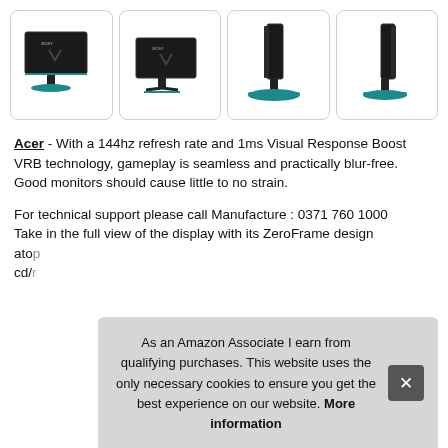[Figure (photo): Four product images of an Acer gaming monitor from different angles: front-left, front-center, side-left, side-right. Each image is in a rounded rectangle box.]
Acer - With a 144hz refresh rate and 1ms Visual Response Boost VRB technology, gameplay is seamless and practically blur-free. Good monitors should cause little to no strain.
For technical support please call Manufacture : 0371 760 1000 Take in the full view of the display with its ZeroFrame design atop cd/r
As an Amazon Associate I earn from qualifying purchases. This website uses the only necessary cookies to ensure you get the best experience on our website. More information